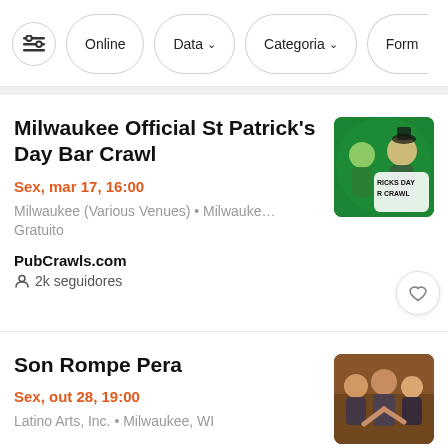Online | Data ↓ | Categoria ↓ | Form…
Milwaukee Official St Patrick's Day Bar Crawl
Sex, mar 17, 16:00
Milwaukee (Various Venues) • Milwauke…
Gratuito
PubCrawls.com
2k seguidores
[Figure (photo): St Patrick's Day Bar Crawl event promo image with people in green and text RICK'S DAY R CRAWL]
Son Rompe Pera
Sex, out 28, 19:00
Latino Arts, Inc. • Milwaukee, WI
[Figure (photo): Son Rompe Pera band promotional photo]